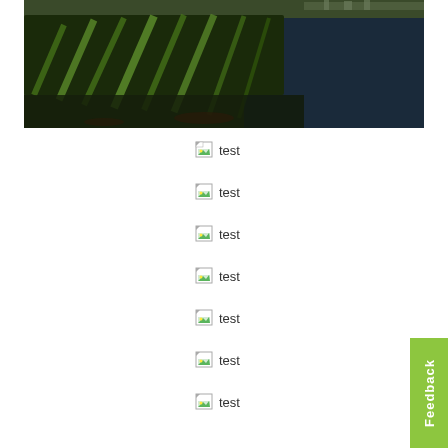[Figure (photo): Aerial or elevated view of a coastal or riverbank scene showing a dark embankment or slope covered with green reeds/grass, dark water to the right, and distant buildings/shoreline in the background at the top.]
[Figure (other): Broken image placeholder with icon and text 'test']
[Figure (other): Broken image placeholder with icon and text 'test']
[Figure (other): Broken image placeholder with icon and text 'test']
[Figure (other): Broken image placeholder with icon and text 'test']
[Figure (other): Broken image placeholder with icon and text 'test']
[Figure (other): Broken image placeholder with icon and text 'test']
[Figure (other): Broken image placeholder with icon and text 'test']